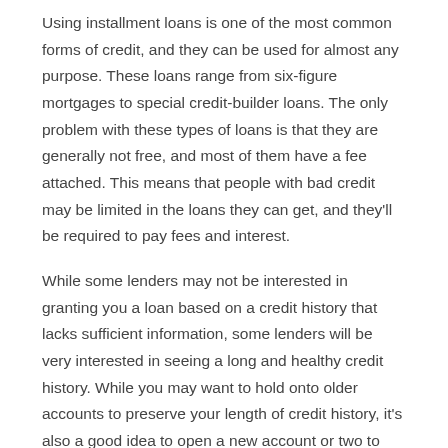Using installment loans is one of the most common forms of credit, and they can be used for almost any purpose. These loans range from six-figure mortgages to special credit-builder loans. The only problem with these types of loans is that they are generally not free, and most of them have a fee attached. This means that people with bad credit may be limited in the loans they can get, and they'll be required to pay fees and interest.
While some lenders may not be interested in granting you a loan based on a credit history that lacks sufficient information, some lenders will be very interested in seeing a long and healthy credit history. While you may want to hold onto older accounts to preserve your length of credit history, it's also a good idea to open a new account or two to add variety to your credit mix. Using a credit reporting tool like Experian Boost or Lift, or Ultra FICO, can help you report information about bank accounts to the bureaus.
Checking your credit report